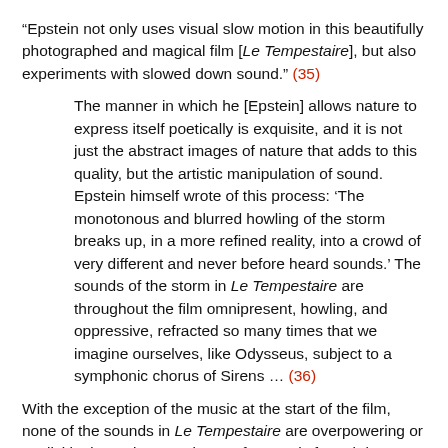“Epstein not only uses visual slow motion in this beautifully photographed and magical film [Le Tempestaire], but also experiments with slowed down sound.” (35)
The manner in which he [Epstein] allows nature to express itself poetically is exquisite, and it is not just the abstract images of nature that adds to this quality, but the artistic manipulation of sound. Epstein himself wrote of this process: ‘The monotonous and blurred howling of the storm breaks up, in a more refined reality, into a crowd of very different and never before heard sounds.’ The sounds of the storm in Le Tempestaire are throughout the film omnipresent, howling, and oppressive, refracted so many times that we imagine ourselves, like Odysseus, subject to a symphonic chorus of Sirens … (36)
With the exception of the music at the start of the film, none of the sounds in Le Tempestaire are overpowering or explicitly dramatic. Epstein’s preference is for subtle, understated sounds that do not compete with the images. When compared to the image, the sound is the passive or submissive element. It tries to complement rather than compete with the image.